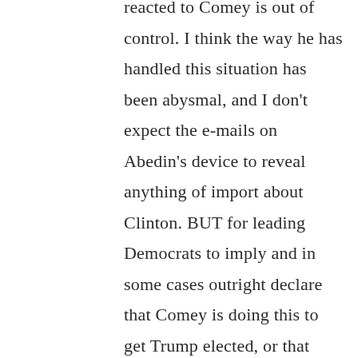reacted to Comey is out of control. I think the way he has handled this situation has been abysmal, and I don't expect the e-mails on Abedin's device to reveal anything of import about Clinton. BUT for leading Democrats to imply and in some cases outright declare that Comey is doing this to get Trump elected, or that